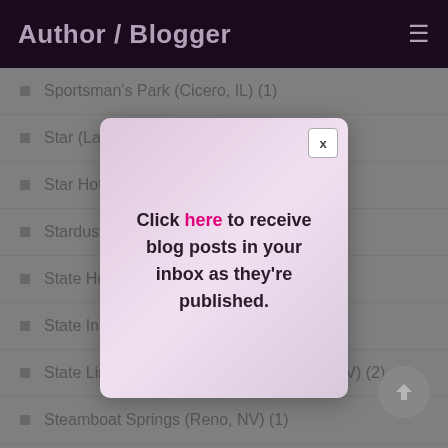Author / Blogger
Sportsman's Park (Cicero, IL) (1)
Star (Las Vegas, NV) (2)
Star Hotel and B... (L)
Stardust (Las Ve...
State Hotel (Car...
State Inn (Carlin, NV) (1)
State Line Hotel and Casino (Wendover, NV) (2)
Steamboat Springs (Reno, NV) (1)
Click here to receive blog posts in your inbox as they're published.